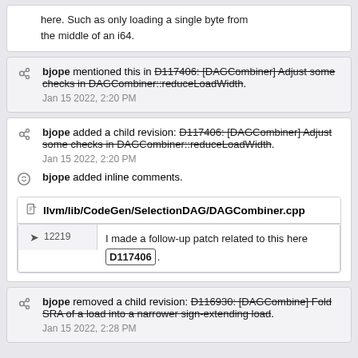here. Such as only loading a single byte from the middle of an i64.
bjope mentioned this in D117406: [DAGCombiner] Adjust some checks in DAGCombiner::reduceLoadWidth. Jan 15 2022, 2:20 PM
bjope added a child revision: D117406: [DAGCombiner] Adjust some checks in DAGCombiner::reduceLoadWidth. Jan 15 2022, 2:20 PM
bjope added inline comments.
llvm/lib/CodeGen/SelectionDAG/DAGCombiner.cpp
12219 — I made a follow-up patch related to this here D117406.
bjope removed a child revision: D116930: [DAGCombine] Fold SRA of a load into a narrower sign-extending load. Jan 15 2022, 2:28 PM